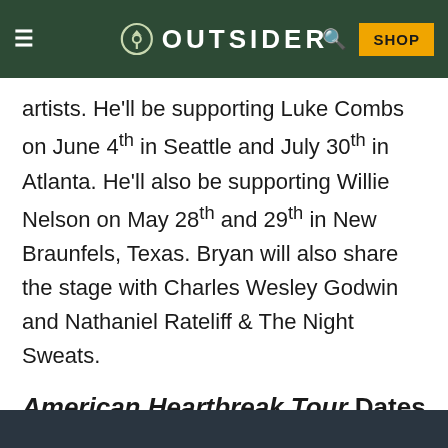OUTSIDER
artists. He'll be supporting Luke Combs on June 4th in Seattle and July 30th in Atlanta. He'll also be supporting Willie Nelson on May 28th and 29th in New Braunfels, Texas. Bryan will also share the stage with Charles Wesley Godwin and Nathaniel Rateliff & The Night Sweats.
American Heartbreak Tour Dates
Zach Bryan's American Heartbreak Tour might be